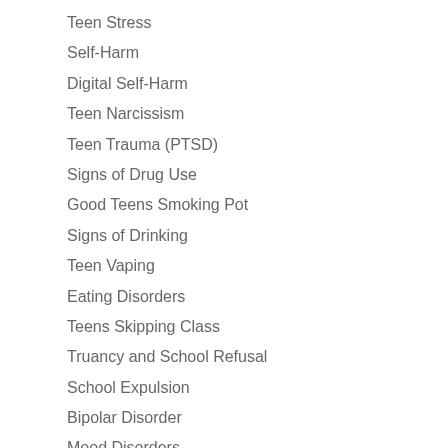Teen Stress
Self-Harm
Digital Self-Harm
Teen Narcissism
Teen Trauma (PTSD)
Signs of Drug Use
Good Teens Smoking Pot
Signs of Drinking
Teen Vaping
Eating Disorders
Teens Skipping Class
Truancy and School Refusal
School Expulsion
Bipolar Disorder
Mood Disorders